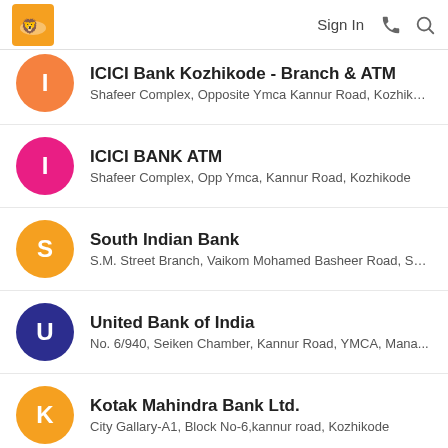Sign In
ICICI Bank Kozhikode - Branch & ATM
Shafeer Complex, Opposite Ymca Kannur Road, Kozhikode
ICICI BANK ATM
Shafeer Complex, Opp Ymca, Kannur Road, Kozhikode
South Indian Bank
S.M. Street Branch, Vaikom Mohamed Basheer Road, SM...
United Bank of India
No. 6/940, Seiken Chamber, Kannur Road, YMCA, Mana...
Kotak Mahindra Bank Ltd.
City Gallary-A1, Block No-6,kannur road, Kozhikode
KSFE
Javanthi Building, Palayam, Kozhikode, Calicut, Kerala - ...